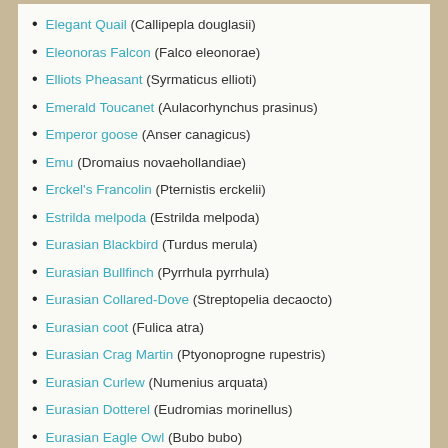Elegant Quail (Callipepla douglasii)
Eleonoras Falcon (Falco eleonorae)
Elliots Pheasant (Syrmaticus ellioti)
Emerald Toucanet (Aulacorhynchus prasinus)
Emperor goose (Anser canagicus)
Emu (Dromaius novaehollandiae)
Erckel's Francolin (Pternistis erckelii)
Estrilda melpoda (Estrilda melpoda)
Eurasian Blackbird (Turdus merula)
Eurasian Bullfinch (Pyrrhula pyrrhula)
Eurasian Collared-Dove (Streptopelia decaocto)
Eurasian coot (Fulica atra)
Eurasian Crag Martin (Ptyonoprogne rupestris)
Eurasian Curlew (Numenius arquata)
Eurasian Dotterel (Eudromias morinellus)
Eurasian Eagle Owl (Bubo bubo)
Eurasian Golden Oriole (Oriolus oriolus)
Eurasian Great Tit (Parus major)
Eurasian Green Woodpecker (Picus viridis)
Eurasian griffon (Gyps fulvus)
Eurasian Hoopoe (Upupa epops)
Eurasian Jackdaw (Corvus monedula)
Eurasian Jay (Garrulus glandarius)